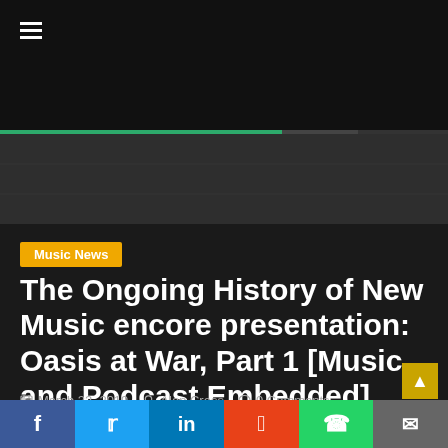≡ (navigation menu)
[Figure (screenshot): Dark website header with hamburger menu icon and green progress/navigation bar, with dark image area below]
Music News
The Ongoing History of New Music encore presentation: Oasis at War, Part 1 [Music and Podcast Embedded]
March 22, 2019   Alan Cross   0 Comments
Social share buttons: Facebook, Twitter, LinkedIn, Reddit, WhatsApp, Email